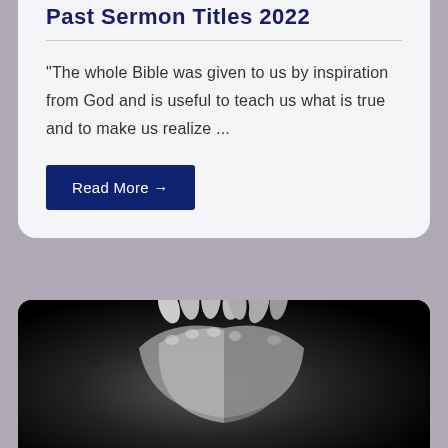Past Sermon Titles 2022
“The whole Bible was given to us by inspiration from God and is useful to teach us what is true and to make us realize …
Read More →
[Figure (photo): Black and white photograph of two hands clasped together in prayer, fingers interlocked, against a dark black background]